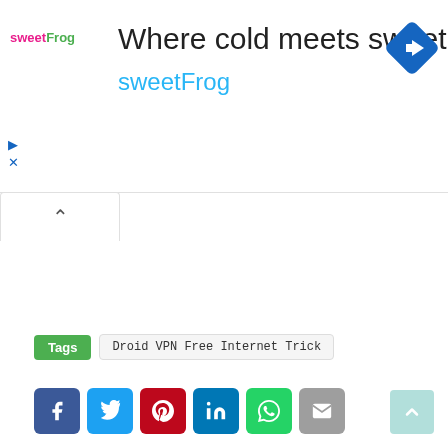[Figure (screenshot): sweetFrog advertisement banner with logo, title 'Where cold meets sweet', subtitle 'sweetFrog', navigation icon, play and close controls]
Tags   Droid VPN Free Internet Trick
[Figure (infographic): Social share buttons: Facebook, Twitter, Pinterest, LinkedIn, WhatsApp, Email, and a scroll-to-top button]